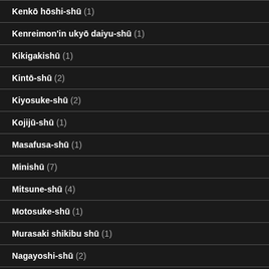Kenkō hōshi-shū (1)
Kenreimon'in ukyō daiyu-shū (1)
Kikigakishū (1)
Kintō-shū (2)
Kiyosuke-shū (2)
Kojijū-shū (1)
Masafusa-shū (1)
Minishū (7)
Mitsune-shū (4)
Motosuke-shū (1)
Murasaki shikibu shū (1)
Nagayoshi-shū (2)